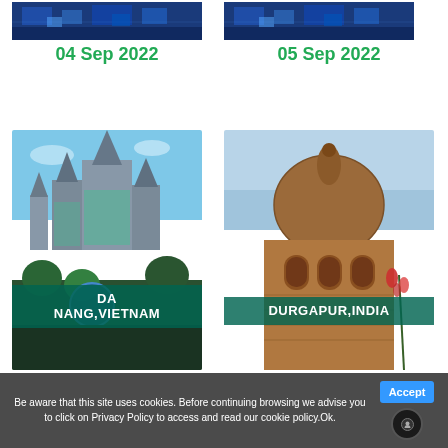[Figure (photo): Aerial/overhead view with blue tones, left column top]
[Figure (photo): Aerial/overhead view with blue tones, right column top]
04 Sep 2022
05 Sep 2022
[Figure (photo): Da Nang, Vietnam – castle/theme park style building with spires and green scenery]
[Figure (photo): Durgapur, India – old brick temple with dome and arched windows]
Be aware that this site uses cookies. Before continuing browsing we advise you to click on Privacy Policy to access and read our cookie policy.Ok.